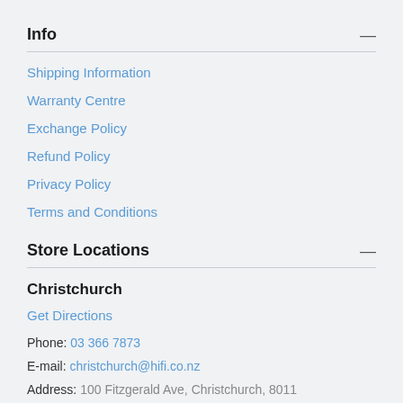Info
Shipping Information
Warranty Centre
Exchange Policy
Refund Policy
Privacy Policy
Terms and Conditions
Store Locations
Christchurch
Get Directions
Phone: 03 366 7873
E-mail: christchurch@hifi.co.nz
Address: 100 Fitzgerald Ave, Christchurch, 8011